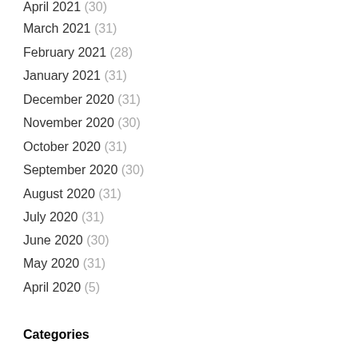April 2021 (30)
March 2021 (31)
February 2021 (28)
January 2021 (31)
December 2020 (31)
November 2020 (30)
October 2020 (31)
September 2020 (30)
August 2020 (31)
July 2020 (31)
June 2020 (30)
May 2020 (31)
April 2020 (5)
Categories